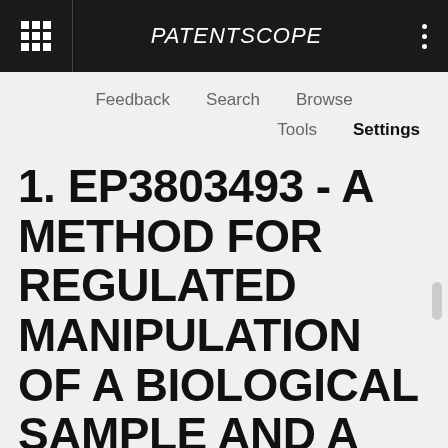PATENTSCOPE
Feedback   Search   Browse
Tools   Settings
1. EP3803493 - A METHOD FOR REGULATED MANIPULATION OF A BIOLOGICAL SAMPLE AND A SYSTEM THEREOF